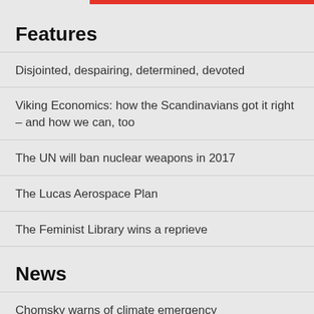Features
Disjointed, despairing, determined, devoted
Viking Economics: how the Scandinavians got it right – and how we can, too
The UN will ban nuclear weapons in 2017
The Lucas Aerospace Plan
The Feminist Library wins a reprieve
News
Chomsky warns of climate emergency